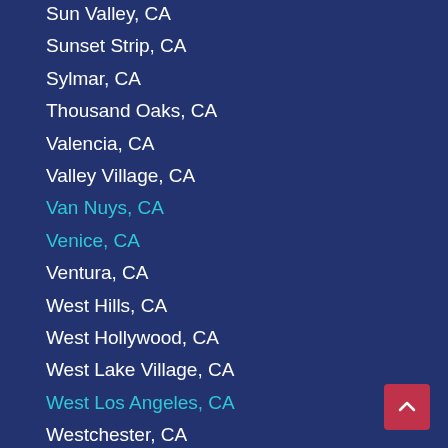Sun Valley, CA
Sunset Strip, CA
Sylmar, CA
Thousand Oaks, CA
Valencia, CA
Valley Village, CA
Van Nuys, CA
Venice, CA
Ventura, CA
West Hills, CA
West Hollywood, CA
West Lake Village, CA
West Los Angeles, CA
Westchester, CA
Whittier, CA
Winnetka, CA